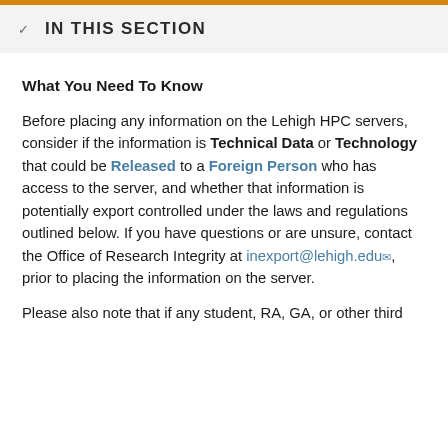IN THIS SECTION
What You Need To Know
Before placing any information on the Lehigh HPC servers, consider if the information is Technical Data or Technology that could be Released to a Foreign Person who has access to the server, and whether that information is potentially export controlled under the laws and regulations outlined below. If you have questions or are unsure, contact the Office of Research Integrity at inexport@lehigh.edu, prior to placing the information on the server.
Please also note that if any student, RA, GA, or other third